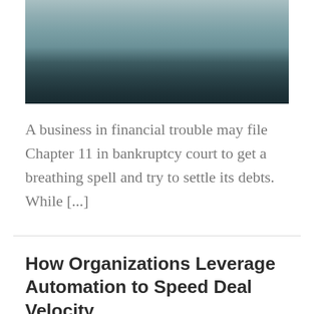[Figure (photo): Abstract photo of water or ocean surface with dark teal tones, bottom portion very dark/black]
A business in financial trouble may file Chapter 11 in bankruptcy court to get a breathing spell and try to settle its debts. While [...]
How Organizations Leverage Automation to Speed Deal Velocity